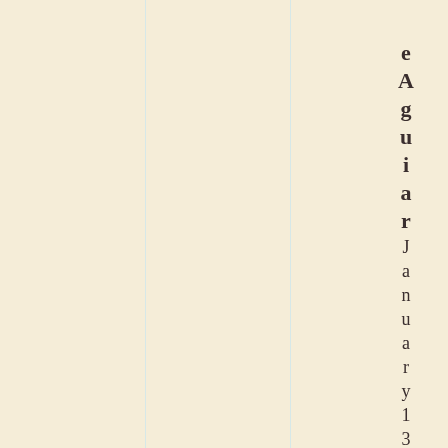[Figure (other): Page with cream/beige background and two faint vertical light blue lines dividing the page into columns. On the right side, vertical text spelling 'e Aguiar January 13' with alternating bold and normal weight letters.]
e Aguiar January 13